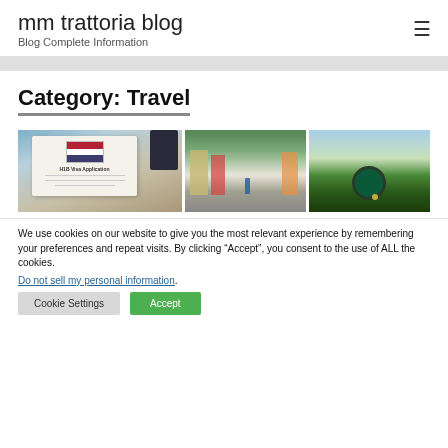mm trattoria blog — Blog Complete Information
Category: Travel
[Figure (photo): H1B Visa Application form with US flag, passport in background]
[Figure (photo): Colorful street scene with buildings and people walking]
[Figure (photo): Hobbit hole / round green door in nature setting]
We use cookies on our website to give you the most relevant experience by remembering your preferences and repeat visits. By clicking “Accept”, you consent to the use of ALL the cookies.
Do not sell my personal information.